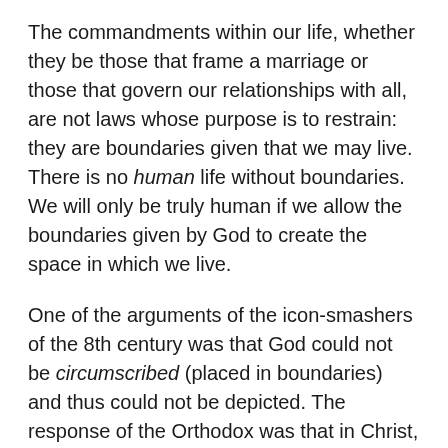The commandments within our life, whether they be those that frame a marriage or those that govern our relationships with all, are not laws whose purpose is to restrain: they are boundaries given that we may live. There is no human life without boundaries. We will only be truly human if we allow the boundaries given by God to create the space in which we live.
One of the arguments of the icon-smashers of the 8th century was that God could not be circumscribed (placed in boundaries) and thus could not be depicted. The response of the Orthodox was that in Christ, God is circumscribed as man and it is the property of a man that he can be depicted. Every icon of Christ is a proclamation of God's embrace of the boundaries of our human existence. The life of Christ is a representation of what it